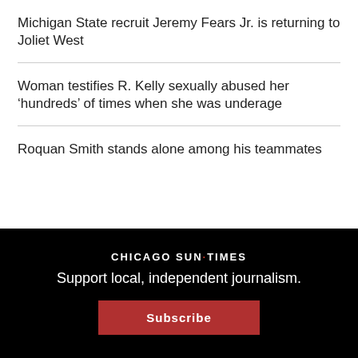Michigan State recruit Jeremy Fears Jr. is returning to Joliet West
Woman testifies R. Kelly sexually abused her ‘hundreds’ of times when she was underage
Roquan Smith stands alone among his teammates
CHICAGO SUN·TIMES
Support local, independent journalism.
Subscribe